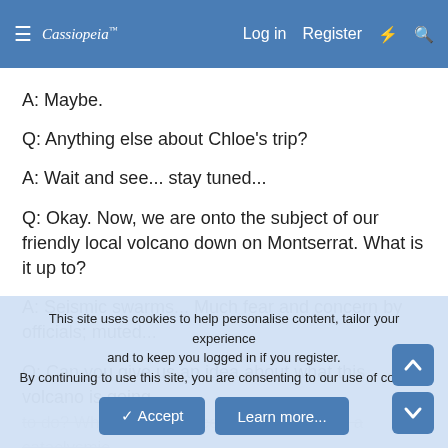Cassiopeia — Log in  Register
A: Maybe.
Q: Anything else about Chloe's trip?
A: Wait and see... stay tuned...
Q: Okay. Now, we are onto the subject of our friendly local volcano down on Montserrat. What is it up to?
A: Seismic swarms... Much fear and concern by officials; muted...
Q: Can you give us an idea about what this volcano is going to do? What are the percentages in favor of a cataclysmic
This site uses cookies to help personalise content, tailor your experience and to keep you logged in if you register.
By continuing to use this site, you are consenting to our use of cookies.